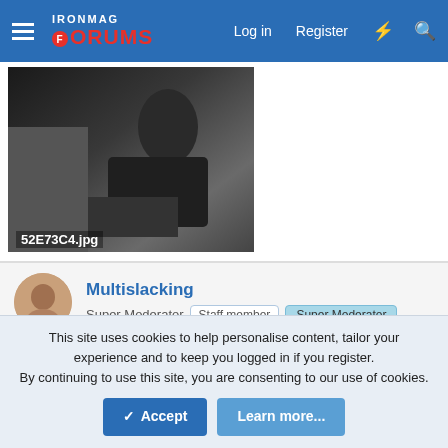IronMag Forums — Log in  Register
[Figure (photo): Partial photo of a person in dark clothing, cropped. Filename label: 52E73C4.jpg]
Multislacking
Super Moderator  Staff member  Super Moderator
Jan 30, 2022  #642
hello
[Figure (photo): Bottom portion of a photo partially visible, showing a dark and grey background with a hint of a person.]
This site uses cookies to help personalise content, tailor your experience and to keep you logged in if you register.
By continuing to use this site, you are consenting to our use of cookies.
Accept  Learn more...